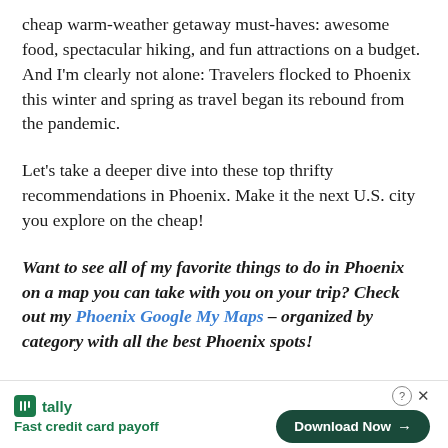cheap warm-weather getaway must-haves: awesome food, spectacular hiking, and fun attractions on a budget. And I'm clearly not alone: Travelers flocked to Phoenix this winter and spring as travel began its rebound from the pandemic.
Let's take a deeper dive into these top thrifty recommendations in Phoenix. Make it the next U.S. city you explore on the cheap!
Want to see all of my favorite things to do in Phoenix on a map you can take with you on your trip? Check out my Phoenix Google My Maps – organized by category with all the best Phoenix spots!
[Figure (other): Advertisement bar for Tally app — Fast credit card payoff — with Download Now button]